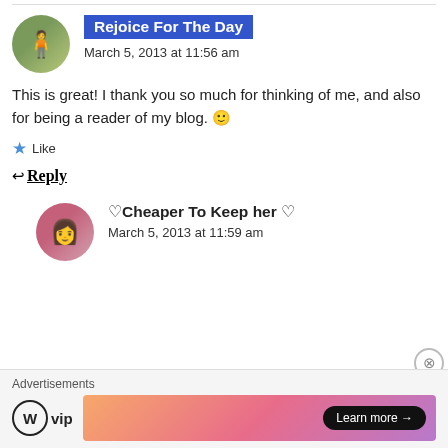Rejoice For The Day
March 5, 2013 at 11:56 am
This is great! I thank you so much for thinking of me, and also for being a reader of my blog. 🙂
★ Like
↩ Reply
♡Cheaper To Keep her ♡
March 5, 2013 at 11:59 am
Advertisements
Learn more →